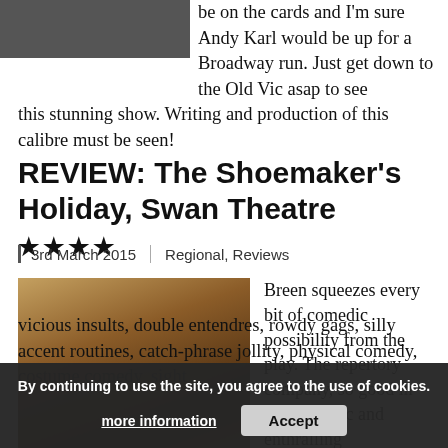be on the cards and I'm sure Andy Karl would be up for a Broadway run. Just get down to the Old Vic asap to see this stunning show. Writing and production of this calibre must be seen!
REVIEW: The Shoemaker's Holiday, Swan Theatre ★★★★
3rd March 2015 | Regional, Reviews
[Figure (photo): Cast photo from The Shoemaker's Holiday at Swan Theatre, performers in period costume]
Breen squeezes every bit of comedic possibility from the play. The repertory company, so good in the dramatic and enthralling Oppenheimer, prove to be equally skilled in the bawdy comedy department. There are sly asides, vicious insults, double entendres, rowdy gags, silly accent routines, catch-phrase jollity, physical comedy, costume comedy, sight
By continuing to use the site, you agree to the use of cookies. more information  Accept